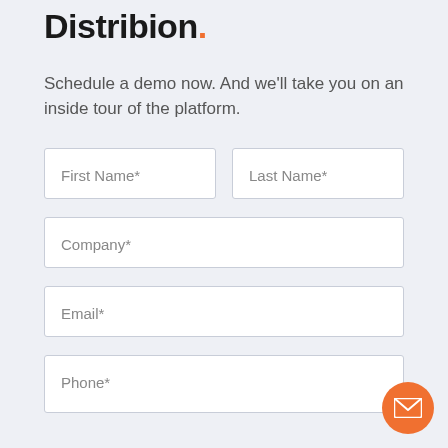Distribion.
Schedule a demo now. And we'll take you on an inside tour of the platform.
[Figure (screenshot): Web form with input fields: First Name*, Last Name*, Company*, Email*, Phone*; orange circular email button at bottom right]